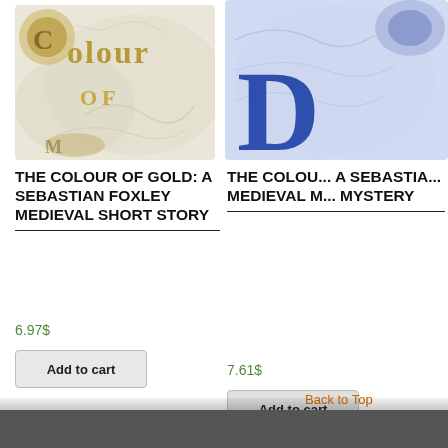[Figure (illustration): Book cover for 'The Colour of Gold: A Sebastian Foxley Medieval Short Story' — creamy background with swirling ornamental patterns, large gold/brass stylized letters spelling 'Colour of' with decorative initial capital]
[Figure (illustration): Book cover partially visible — blue and white ornamental patterns, large bold navy blue letter 'D' or 'B' visible, blue decorative initial at top right]
THE COLOUR OF GOLD: A SEBASTIAN FOXLEY MEDIEVAL SHORT STORY
6.97$
Add to cart
THE COLOUR OF... A SEBASTIAN... MEDIEVAL ... MYSTERY
7.61$
Add to cart
Back to Top